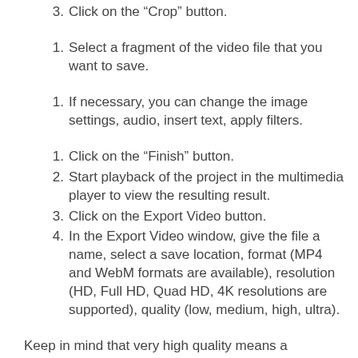3. Click on the “Crop” button.
1. Select a fragment of the video file that you want to save.
1. If necessary, you can change the image settings, audio, insert text, apply filters.
1. Click on the “Finish” button.
2. Start playback of the project in the multimedia player to view the resulting result.
3. Click on the Export Video button.
4. In the Export Video window, give the file a name, select a save location, format (MP4 and WebM formats are available), resolution (HD, Full HD, Quad HD, 4K resolutions are supported), quality (low, medium, high, ultra).
Keep in mind that very high quality means a significant increase in the size of the output video